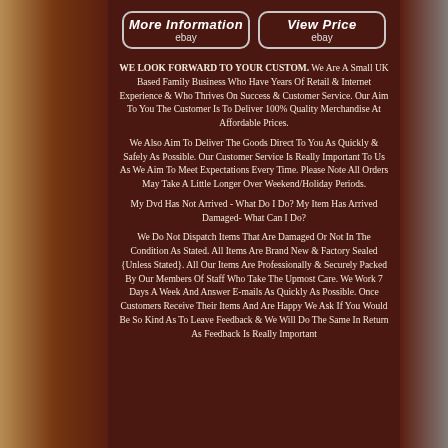[Figure (screenshot): Two eBay-style buttons: 'More Information ebay' and 'View Price ebay' with rounded rectangle borders on dark brown background]
WE LOOK FORWARD TO YOUR CUSTOM. We Are A Small UK Based Family Business Who Have Years Of Retail & Internet Experience & Who Thrives On Success & Customer Service. Our Aim To You The Customer Is To Deliver 100% Quality Merchandise At Affordable Prices.
We Also Aim To Deliver The Goods Direct To You As Quickly & Safely As Possible. Our Customer Service Is Really Important To Us As We Aim To Meet Expectations Every Time. Please Note All Orders May Take A Little Longer Over Weekend/Holiday Periods.
My Dvd Has Not Arrived - What Do I Do? My Item Has Arrived Damaged- What Can I Do?
We Do Not Dispatch Items That Are Damaged Or Not In The Condition As Stated. All Items Are Brand New & Factory Sealed {Unless Stated}. All Our Items Are Professionally & Securely Packed By Our Members Of Staff Who Take The Upmost Care. We Work 7 Days A Week And Answer E-mails As Quickly As Possible. Once Customers Receive Their Items And Are Happy We Ask If You Would Be So Kind As To Leave Feedback & We Will Do The Same In Return As Feedback Is Really Important